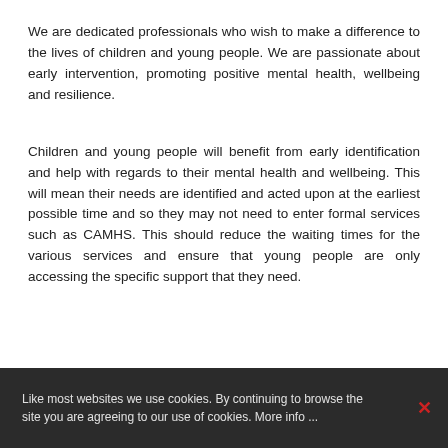We are dedicated professionals who wish to make a difference to the lives of children and young people. We are passionate about early intervention, promoting positive mental health, wellbeing and resilience.
Children and young people will benefit from early identification and help with regards to their mental health and wellbeing. This will mean their needs are identified and acted upon at the earliest possible time and so they may not need to enter formal services such as CAMHS. This should reduce the waiting times for the various services and ensure that young people are only accessing the specific support that they need.
Like most websites we use cookies. By continuing to browse the site you are agreeing to our use of cookies. More info ...